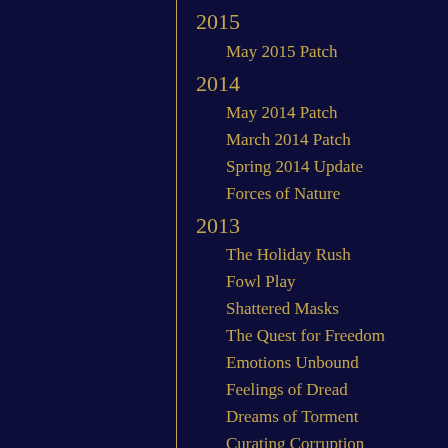2015
May 2015 Patch
2014
May 2014 Patch
March 2014 Patch
Spring 2014 Update
Forces of Nature
2013
The Holiday Rush
Fowl Play
Shattered Masks
The Quest for Freedom
Emotions Unbound
Feelings of Dread
Dreams of Torment
Curating Corruption
Engineered Ascendance
Disturbance in the Desert
Balance of Power